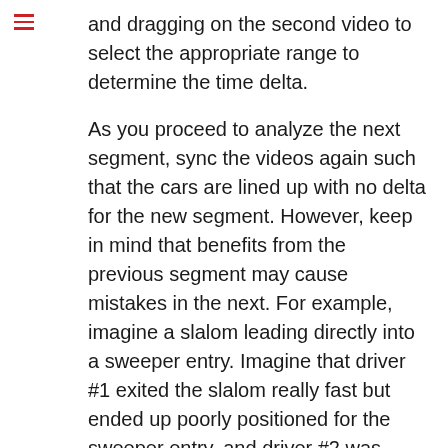and dragging on the second video to select the appropriate range to determine the time delta.
As you proceed to analyze the next segment, sync the videos again such that the cars are lined up with no delta for the new segment. However, keep in mind that benefits from the previous segment may cause mistakes in the next. For example, imagine a slalom leading directly into a sweeper entry. Imagine that driver #1 exited the slalom really fast but ended up poorly positioned for the sweeper entry, and driver #2 was more conservative through the slalom in order to be better positioned for the sweeper entry. Let’s say driver #1 gained 3 tenths in the slalom, but then lost 2 tenths because of the poor sweeper entry, and thus ended up 1 tenth ahead after the